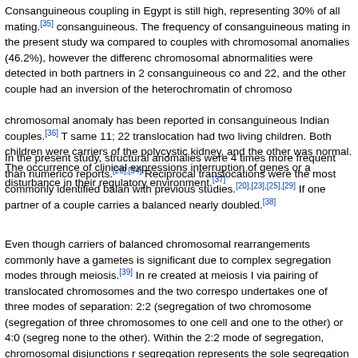Consanguineous coupling in Egypt is still high, representing 30% of all mating.[35] consanguineous. The frequency of consanguineous mating in the present study was compared to couples with chromosomal anomalies (46.2%), however the difference chromosomal abnormalities were detected in both partners in 2 consanguineous co and 22, and the other couple had an inversion of the heterochromatin of chromoso chromosomal anomaly has been reported in consanguineous Indian couples.[36] T same 11; 22 translocation had two living children. Both children were carriers of the polycystic kidney, and the other was normal. The occurrence of clinical expressions interruption of genes or a disturbance in their regulatory environment.[37]
In the present study, structural anomalies were 4 times more frequent than numeric reports.[28],[34] Reciprocal translocations were the most commonly identified balan with previous studies.[20],[23],[25],[29] If one partner of a couple carries a balanced nearly doubled.[38]
Even though carriers of balanced chromosomal rearrangements commonly have a gametes is significant due to complex segregation modes through meiosis.[39] In re created at meiosis I via pairing of translocated chromosomes and the two correspo undertakes one of three modes of separation: 2:2 (segregation of two chromosome (segregation of three chromosomes to one cell and one to the other) or 4:0 (segre none to the other). Within the 2:2 mode of segregation, chromosomal disjunctions r segregation represents the sole segregation pattern producing gametes with balan while the other carries the balanced translocated chromosomes. Other segregation